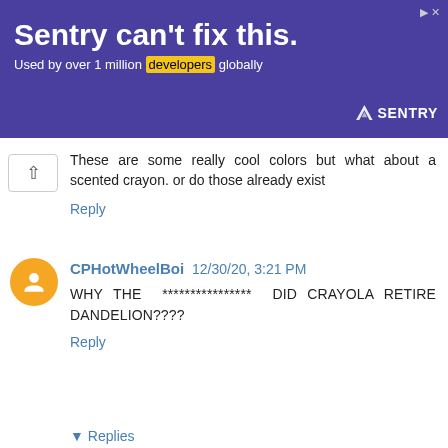[Figure (other): Sentry advertisement banner with purple background. Text: 'Sentry can't fix this.' and 'Used by over 1 million developers globally'. Sentry logo on right.]
These are some really cool colors but what about a scented crayon. or do those already exist
Reply
CPHotWheelBoi 12/30/20, 3:21 PM
WHY THE **************** DID CRAYOLA RETIRE DANDELION????
Reply
Replies
Anonymous 2/25/21, 9:23 PM
i think it was to introduce the color "Bluetiful"
Reply